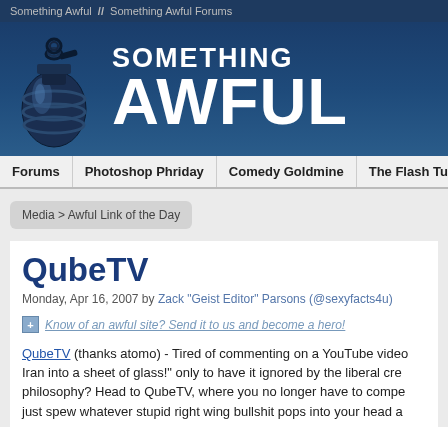Something Awful  //  Something Awful Forums
[Figure (logo): Something Awful website header banner with grenade logo and white bold text reading SOMETHING AWFUL on dark blue background]
Forums | Photoshop Phriday | Comedy Goldmine | The Flash Tub | WTF, D...
Media > Awful Link of the Day
QubeTV
Monday, Apr 16, 2007 by Zack "Geist Editor" Parsons (@sexyfacts4u)
Know of an awful site? Send it to us and become a hero!
QubeTV (thanks atomo) - Tired of commenting on a YouTube video Iran into a sheet of glass!" only to have it ignored by the liberal cre philosophy? Head to QubeTV, where you no longer have to compe just spew whatever stupid right wing bullshit pops into your head a